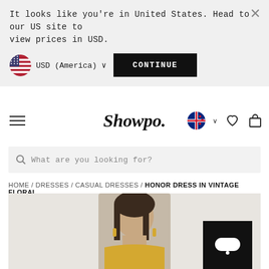It looks like you're in United States. Head to our US site to view prices in USD.
USD (America) ∨
CONTINUE
Showpo.
What are you looking for?
HOME / DRESSES / CASUAL DRESSES / HONOR DRESS IN VINTAGE FLORAL
[Figure (photo): Product photo of a woman wearing the Honor Dress in Vintage Floral, shown from the shoulders up, with earrings visible. A chat widget button is overlaid in the bottom right.]